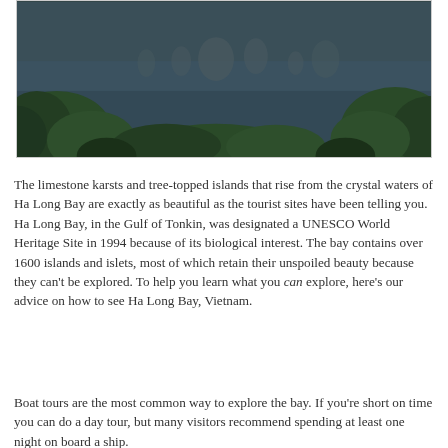[Figure (photo): Aerial or elevated view of Ha Long Bay, Vietnam, showing limestone karst islands rising from dark teal-blue water, with dense green tree canopy in the foreground and misty rocky outcrops in the background.]
The limestone karsts and tree-topped islands that rise from the crystal waters of Ha Long Bay are exactly as beautiful as the tourist sites have been telling you. Ha Long Bay, in the Gulf of Tonkin, was designated a UNESCO World Heritage Site in 1994 because of its biological interest. The bay contains over 1600 islands and islets, most of which retain their unspoiled beauty because they can't be explored. To help you learn what you can explore, here's our advice on how to see Ha Long Bay, Vietnam.
Boat tours are the most common way to explore the bay. If you're short on time you can do a day tour, but many visitors recommend spending at least one night on board a ship.